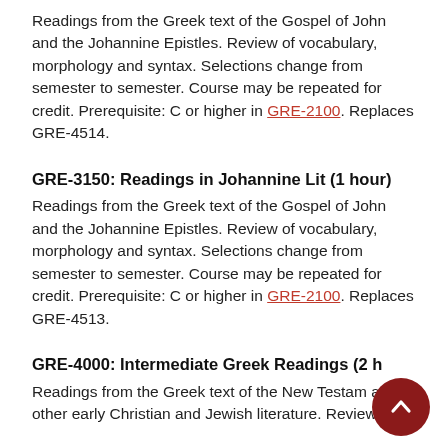Readings from the Greek text of the Gospel of John and the Johannine Epistles. Review of vocabulary, morphology and syntax. Selections change from semester to semester. Course may be repeated for credit. Prerequisite: C or higher in GRE-2100. Replaces GRE-4514.
GRE-3150: Readings in Johannine Lit (1 hour)
Readings from the Greek text of the Gospel of John and the Johannine Epistles. Review of vocabulary, morphology and syntax. Selections change from semester to semester. Course may be repeated for credit. Prerequisite: C or higher in GRE-2100. Replaces GRE-4513.
GRE-4000: Intermediate Greek Readings (2 h...
Readings from the Greek text of the New Testament and other early Christian and Jewish literature. Review...